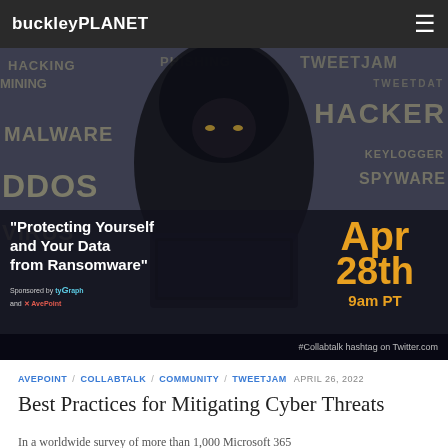buckleyPLANET
[Figure (photo): Hero image showing a hooded hacker figure at a laptop with cybersecurity threat words (HACKER, MALWARE, DDOS, VIRUS, KEYLOGGER, SPYWARE) in the background. Overlay text: "Protecting Yourself and Your Data from Ransomware" with date Apr 28th 9am PT. Sponsored by tyGraph and AvePoint. #Collabtalk hashtag on Twitter.com]
AVEPOINT / COLLABTALK / COMMUNITY / TWEETJAM  APRIL 26, 2022
Best Practices for Mitigating Cyber Threats
In a worldwide survey of more than 1,000 Microsoft 365